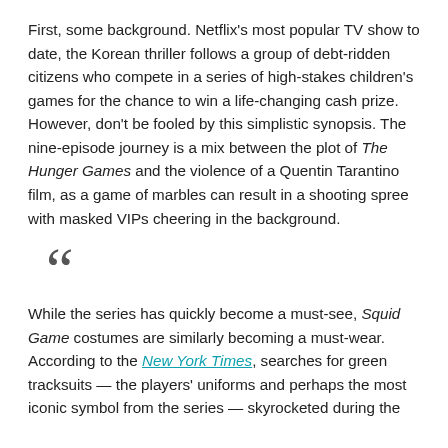First, some background. Netflix's most popular TV show to date, the Korean thriller follows a group of debt-ridden citizens who compete in a series of high-stakes children's games for the chance to win a life-changing cash prize. However, don't be fooled by this simplistic synopsis. The nine-episode journey is a mix between the plot of The Hunger Games and the violence of a Quentin Tarantino film, as a game of marbles can result in a shooting spree with masked VIPs cheering in the background.
“ While the series has quickly become a must-see, Squid Game costumes are similarly becoming a must-wear. According to the New York Times, searches for green tracksuits — the players' uniforms and perhaps the most iconic symbol from the series — skyrocketed during the